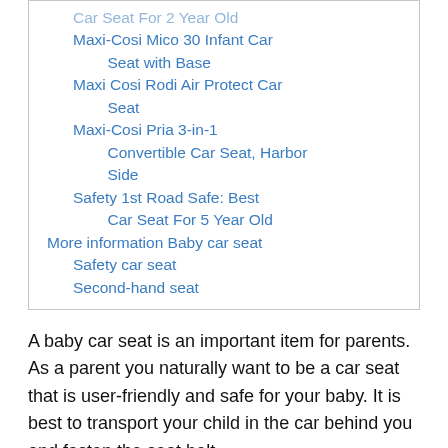Maxi-Cosi Mico 30 Infant Car Seat with Base
Maxi Cosi Rodi Air Protect Car Seat
Maxi-Cosi Pria 3-in-1 Convertible Car Seat, Harbor Side
Safety 1st Road Safe: Best Car Seat For 5 Year Old
More information Baby car seat
Safety car seat
Second-hand seat
A baby car seat is an important item for parents. As a parent you naturally want to be a car seat that is user-friendly and safe for your baby. It is best to transport your child in the car behind you and fasten the seat belt